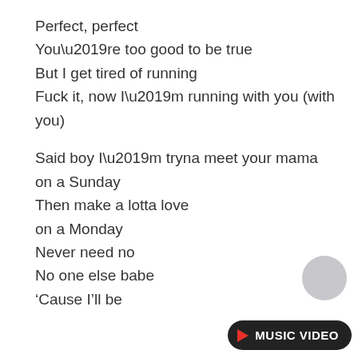Perfect, perfect
You’re too good to be true
But I get tired of running
Fuck it, now I’m running with you (with you)
Said boy I’m tryna meet your mama
on a Sunday
Then make a lotta love
on a Monday
Never need no
No one else babe
‘Cause I’ll be
[Figure (other): Music Video button with play icon and circular button]